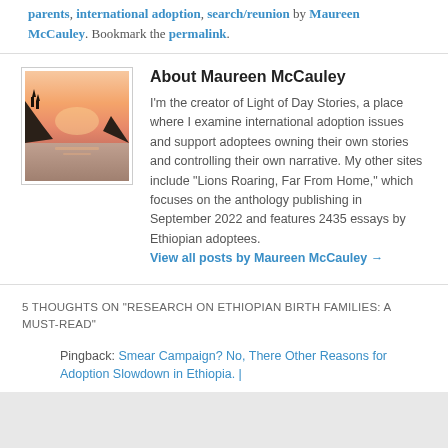parents, international adoption, search/reunion by Maureen McCauley. Bookmark the permalink.
About Maureen McCauley
[Figure (photo): Author photo: sunset over water with silhouetted cliffs, pink and orange sky]
I'm the creator of Light of Day Stories, a place where I examine international adoption issues and support adoptees owning their own stories and controlling their own narrative. My other sites include "Lions Roaring, Far From Home," which focuses on the anthology publishing in September 2022 and features 2435 essays by Ethiopian adoptees.
View all posts by Maureen McCauley →
5 THOUGHTS ON "RESEARCH ON ETHIOPIAN BIRTH FAMILIES: A MUST-READ"
Pingback: Smear Campaign? No, There Other Reasons for Adoption Slowdown in Ethiopia. |